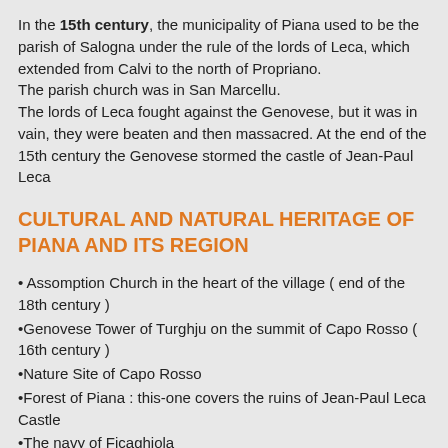In the 15th century, the municipality of Piana used to be the parish of Salogna under the rule of the lords of Leca, which extended from Calvi to the north of Propriano.
The parish church was in San Marcellu.
The lords of Leca fought against the Genovese, but it was in vain, they were beaten and then massacred. At the end of the 15th century the Genovese stormed the castle of Jean-Paul Leca
CULTURAL AND NATURAL HERITAGE OF PIANA AND ITS REGION
• Assomption Church in the heart of the village ( end of the 18th century )
•Genovese Tower of Turghju on the summit of Capo Rosso ( 16th century )
•Nature Site of Capo Rosso
•Forest of Piana : this-one covers the ruins of Jean-Paul Leca Castle
•The navy of Ficaghjola
•The Calanques of Piana